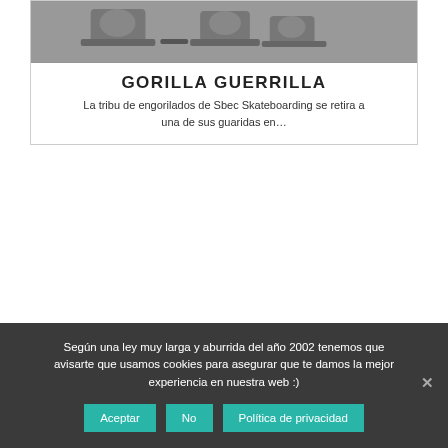[Figure (photo): Black and white photo of skateboarders from above]
GORILLA GUERRILLA
La tribu de engorilados de Sbec Skateboarding se retira a una de sus guaridas en...
Según una ley muy larga y aburrida del año 2002 tenemos que avisarte que usamos cookies para asegurar que te damos la mejor experiencia en nuestra web :)
Aceptar | No | Política de privacidad